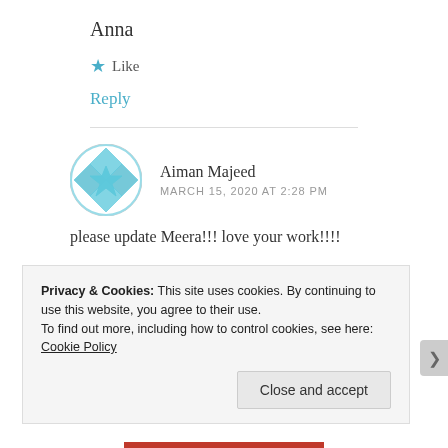Anna
★ Like
Reply
Aiman Majeed
MARCH 15, 2020 AT 2:28 PM
please update Meera!!! love your work!!!!
Privacy & Cookies: This site uses cookies. By continuing to use this website, you agree to their use.
To find out more, including how to control cookies, see here: Cookie Policy
Close and accept